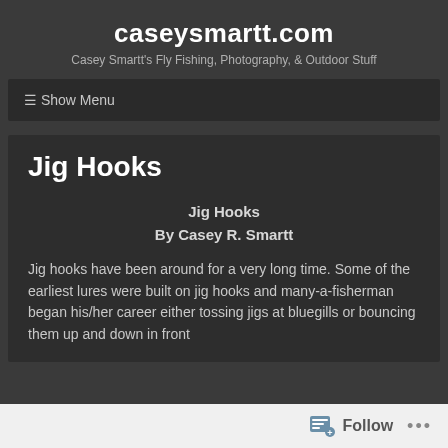caseysmartt.com
Casey Smartt's Fly Fishing, Photography, & Outdoor Stuff
☰ Show Menu
Jig Hooks
Jig Hooks
By Casey R. Smartt
Jig hooks have been around for a very long time. Some of the earliest lures were built on jig hooks and many-a-fisherman began his/her career either tossing jigs at bluegills or bouncing them up and down in front
Follow •••